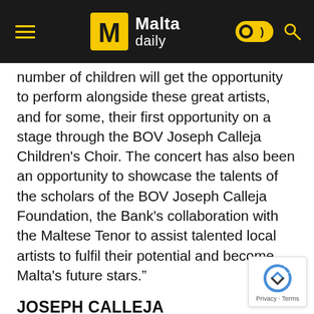Malta daily
number of children will get the opportunity to perform alongside these great artists, and for some, their first opportunity on a stage through the BOV Joseph Calleja Children's Choir. The concert has also been an opportunity to showcase the talents of the scholars of the BOV Joseph Calleja Foundation, the Bank's collaboration with the Maltese Tenor to assist talented local artists to fulfil their potential and become Malta's future stars.”
JOSEPH CALLEJA